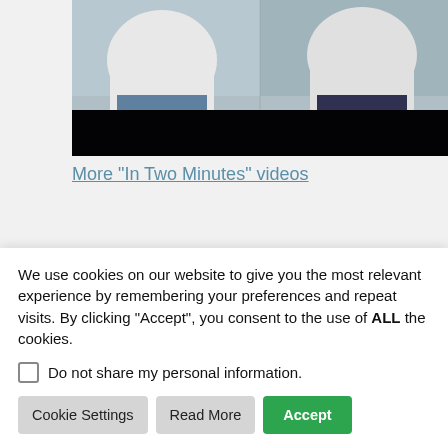[Figure (screenshot): Video thumbnail showing two people wearing white shirts seated, with a black bar across the lower portion of the image]
More "In Two Minutes" videos
PROPERTIES
Flash Point: 393°F (201°C)
We use cookies on our website to give you the most relevant experience by remembering your preferences and repeat visits. By clicking "Accept", you consent to the use of ALL the cookies.
Do not share my personal information.
Cookie Settings | Read More | Accept